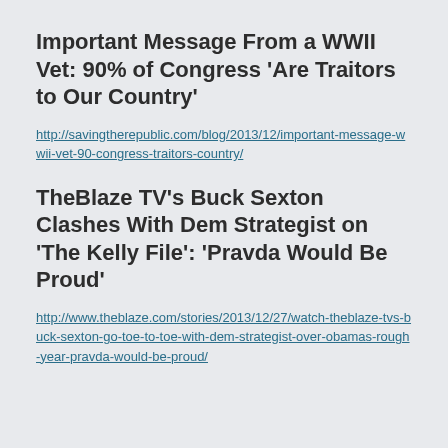Important Message From a WWII Vet: 90% of Congress 'Are Traitors to Our Country'
http://savingtherepublic.com/blog/2013/12/important-message-wwii-vet-90-congress-traitors-country/
TheBlaze TV's Buck Sexton Clashes With Dem Strategist on 'The Kelly File': 'Pravda Would Be Proud'
http://www.theblaze.com/stories/2013/12/27/watch-theblaze-tvs-buck-sexton-go-toe-to-toe-with-dem-strategist-over-obamas-rough-year-pravda-would-be-proud/